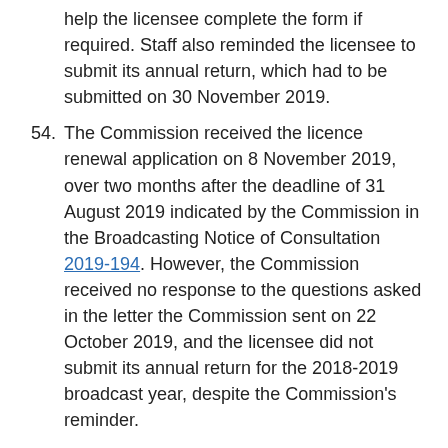help the licensee complete the form if required. Staff also reminded the licensee to submit its annual return, which had to be submitted on 30 November 2019.
54. The Commission received the licence renewal application on 8 November 2019, over two months after the deadline of 31 August 2019 indicated by the Commission in the Broadcasting Notice of Consultation 2019-194. However, the Commission received no response to the questions asked in the letter the Commission sent on 22 October 2019, and the licensee did not submit its annual return for the 2018-2019 broadcast year, despite the Commission's reminder.
55. In the absence of numerous pieces of information required to conduct the station's compliance assessment, Commission staff sent, by email and by registered mail, a clarification letter to complete the application file. The licensee had to reply by 4 February 2020. However, Ms. Cholette apparently